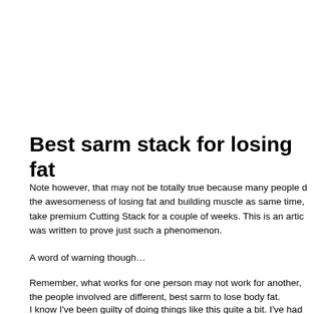Best sarm stack for losing fat
Note however, that may not be totally true because many people d... the awesomeness of losing fat and building muscle as same time, take premium Cutting Stack for a couple of weeks. This is an artic... was written to prove just such a phenomenon.
A word of warning though…
Remember, what works for one person may not work for another, the people involved are different, best sarm to lose body fat.
I know I've been guilty of doing things like this quite a bit. I've had...